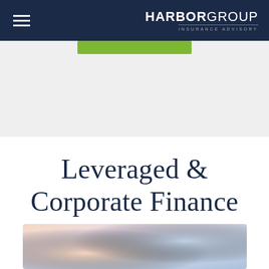Harbor Group Insurance Advisory
Leveraged & Corporate Finance
[Figure (photo): Business professionals, blurred photo background with warm and cool tones suggesting a meeting or handshake scene]